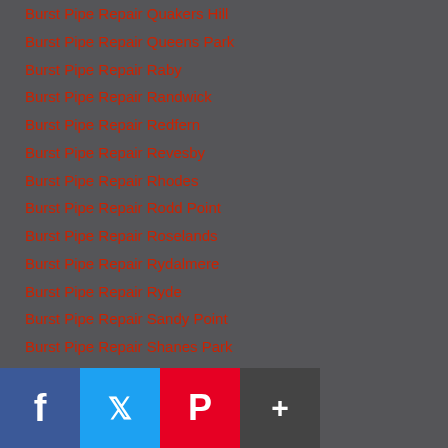Burst Pipe Repair Quakers Hill
Burst Pipe Repair Queens Park
Burst Pipe Repair Raby
Burst Pipe Repair Randwick
Burst Pipe Repair Redfern
Burst Pipe Repair Revesby
Burst Pipe Repair Rhodes
Burst Pipe Repair Rodd Point
Burst Pipe Repair Roselands
Burst Pipe Repair Rydalmere
Burst Pipe Repair Ryde
Burst Pipe Repair Sandy Point
Burst Pipe Repair Shanes Park
Burst Pipe Repair Silverwater
Burst Pipe Repair St Andrews
Burst Pipe Repair St Johns Park
Burst Pipe Repair Summer Hill
Burst Pipe Repair Surry Hills
Burst Pipe Repair Toongabbie
Burst Pipe Repair Tow Park